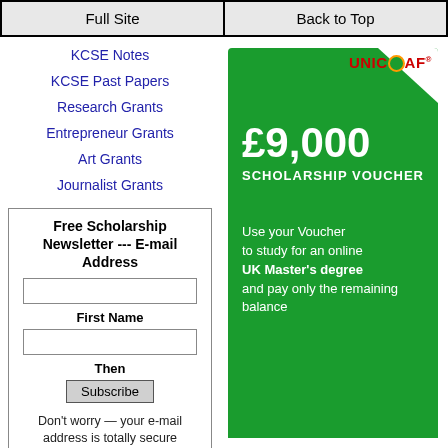Full Site | Back to Top
KCSE Notes
KCSE Past Papers
Research Grants
Entrepreneur Grants
Art Grants
Journalist Grants
Free Scholarship Newsletter --- E-mail Address
First Name
Then
Subscribe
Don't worry — your e-mail address is totally secure
[Figure (illustration): UNICAF scholarship advertisement banner. Green background with UNICAF logo in top right corner, showing £9,000 SCHOLARSHIP VOUCHER. Text reads: Use your Voucher to study for an online UK Master's degree and pay only the remaining balance.]